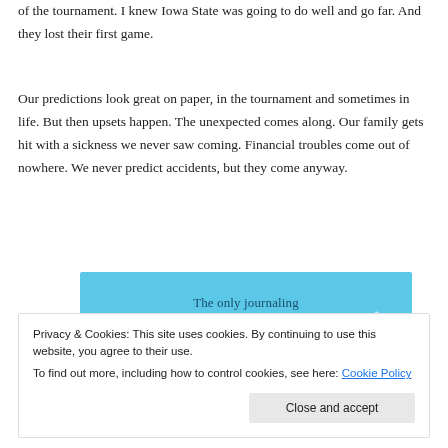of the tournament. I knew Iowa State was going to do well and go far. And they lost their first game.
Our predictions look great on paper, in the tournament and sometimes in life. But then upsets happen. The unexpected comes along. Our family gets hit with a sickness we never saw coming. Financial troubles come out of nowhere. We never predict accidents, but they come anyway.
[Figure (other): Blue advertisement banner for 'The only journaling app you'll ever need.']
Privacy & Cookies: This site uses cookies. By continuing to use this website, you agree to their use.
To find out more, including how to control cookies, see here: Cookie Policy